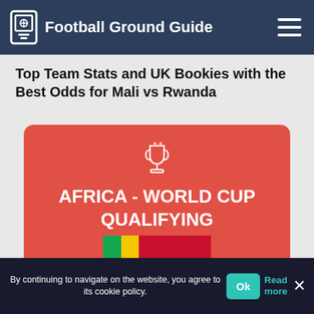Football Ground Guide
Top Team Stats and UK Bookies with the Best Odds for Mali vs Rwanda
[Figure (illustration): Red rounded rectangle card with a trophy icon at top center, bold white text reading 'AFRICA - WORLD CUP QUALIFYING', and two football flags (Mali tri-color green/yellow/red, and Rwanda red) at the bottom center.]
By continuing to navigate on the website, you agree to its cookie policy.